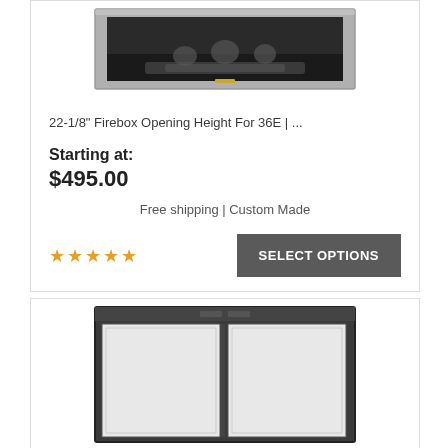[Figure (photo): Fireplace door product photo - silver/stainless framed glass door shown closed with fire visible inside]
22-1/8" Firebox Opening Height For 36E | ...
Starting at:
$495.00
Free shipping | Custom Made
[Figure (other): Five orange/gold star rating icons]
SELECT OPTIONS
[Figure (photo): Fireplace door product photo - dark/black framed bi-fold glass door shown open/folded, rectangular frame visible]